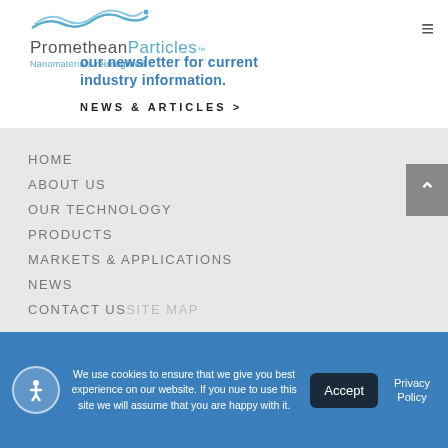[Figure (logo): Promethean Particles logo with wave graphic and tagline 'Nanomaterials reimagined']
our newsletter for current industry information.
NEWS & ARTICLES >
HOME
ABOUT US
OUR TECHNOLOGY
PRODUCTS
MARKETS & APPLICATIONS
NEWS
CONTACT USSITE MAP
We use cookies to ensure that we give you best experience on our website. If you nue to use this site we will assume that you are happy with it.
Accept
Privacy Policy